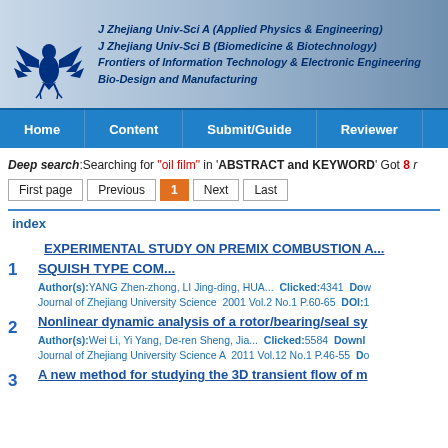[Figure (logo): Zhejiang University Press eagle/bird logo in blue]
J Zhejiang Univ-Sci A (Applied Physics & Engineering)
J Zhejiang Univ-Sci B (Biomedicine & Biotechnology)
Frontiers of Information Technology & Electronic Engineering
Bio-Design and Manufacturing
Home | Content | Submit/Guide | Reviewer
Deep search:Searching for "oil film" in 'ABSTRACT and KEYWORD' Got 8 ...
First page  Previous  1  Next  Last
index
EXPERIMENTAL STUDY ON PREMIX COMBUSTION A...
1  SQUISH TYPE COM...
Author(s):YANG Zhen-zhong, LI Jing-ding, HUA...  Clicked:4341  Do...
Journal of Zhejiang University Science  2001 Vol.2 No.1 P.60-65  DOI:...
2  Nonlinear dynamic analysis of a rotor/bearing/seal sy...
Author(s):Wei Li, Yi Yang, De-ren Sheng, Jia...  Clicked:5584  Downl...
Journal of Zhejiang University Science A  2011 Vol.12 No.1 P.46-55  D...
3  A new method for studying the 3D transient flow of m...